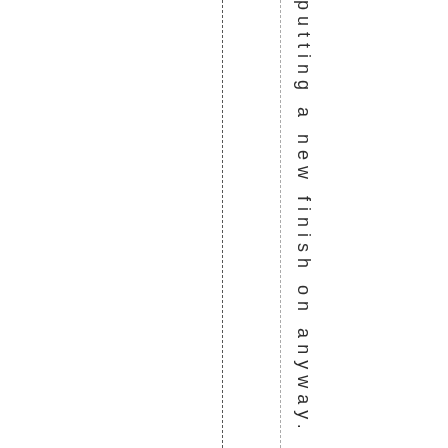putting a new finish on anyway. Eas